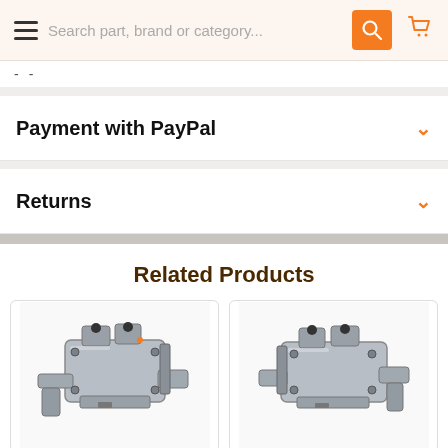Search part, brand or category...
- -
Payment with PayPal
Returns
Related Products
[Figure (photo): Brake caliper product image, left side, silver metal automotive part]
[Figure (photo): Brake caliper product image, right side, silver metal automotive part]